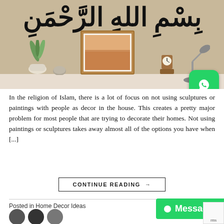[Figure (photo): Interior shelf with a framed landscape print, potted plant, small stone, wooden clock, and desk lamp. Arabic calligraphy text on the wall above. WhatsApp icon overlaid at bottom right.]
In the religion of Islam, there is a lot of focus on not using sculptures or paintings with people as decor in the house. This creates a pretty major problem for most people that are trying to decorate their homes. Not using paintings or sculptures takes away almost all of the options you have when [...]
CONTINUE READING →
Posted in Home Decor Ideas